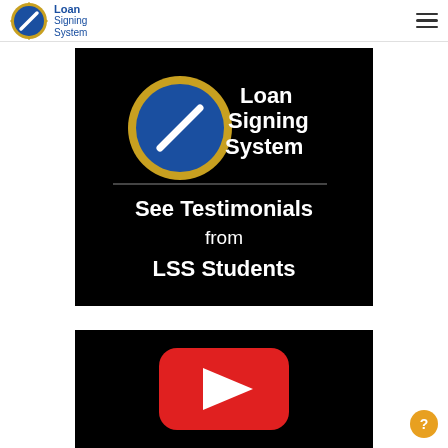Loan Signing System
[Figure (screenshot): Video thumbnail with black background showing Loan Signing System logo (blue circle with diagonal pen/pencil and gold border), 'Loan Signing System' text, and white text reading 'See Testimonials from LSS Students']
[Figure (screenshot): Video thumbnail with black background showing a red YouTube play button (rounded red rectangle with white triangle play icon)]